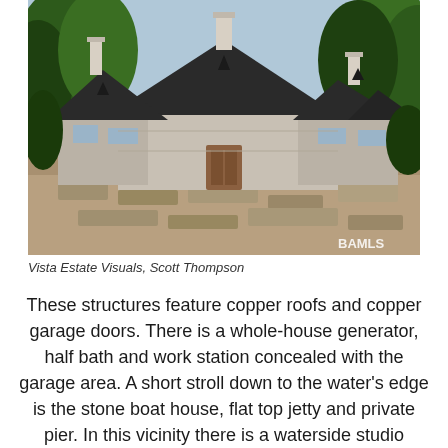[Figure (photo): Aerial view of a luxury estate with dark metal roofs, stone construction, multiple chimneys, surrounded by trees]
Vista Estate Visuals, Scott Thompson
These structures feature copper roofs and copper garage doors. There is a whole-house generator, half bath and work station concealed with the garage area. A short stroll down to the water's edge is the stone boat house, flat top jetty and private pier. In this vicinity there is a waterside studio apartment with kitchen and spectacular lake views. The adjacent lot includes a log fashioned guest house with 3 bedrooms, gourmet kitchen and expansive deck hanging over the lake's shore line. Surrounding the log guest house are two matching log tree house, ideally used as private offices